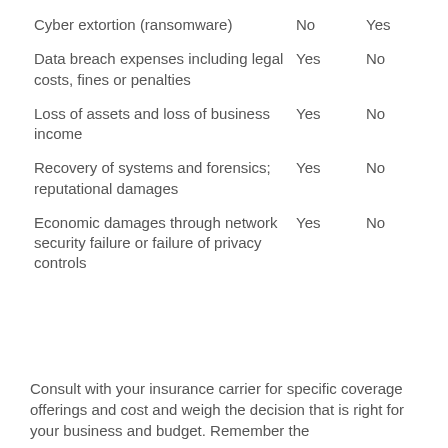| Cyber extortion (ransomware) | No | Yes |
| Data breach expenses including legal costs, fines or penalties | Yes | No |
| Loss of assets and loss of business income | Yes | No |
| Recovery of systems and forensics; reputational damages | Yes | No |
| Economic damages through network security failure or failure of privacy controls | Yes | No |
Consult with your insurance carrier for specific coverage offerings and cost and weigh the decision that is right for your business and budget. Remember the